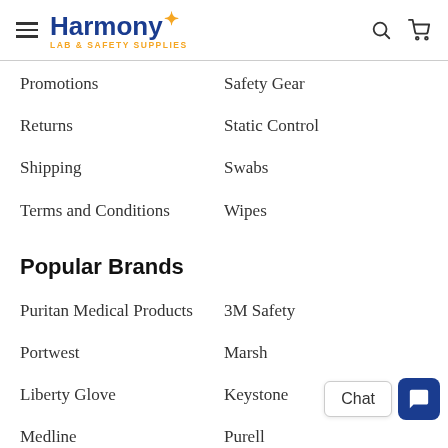Harmony LAB & SAFETY SUPPLIES
Promotions
Safety Gear
Returns
Static Control
Shipping
Swabs
Terms and Conditions
Wipes
Popular Brands
Puritan Medical Products
3M Safety
Portwest
Marsh
Liberty Glove
Keystone
Medline
Purell